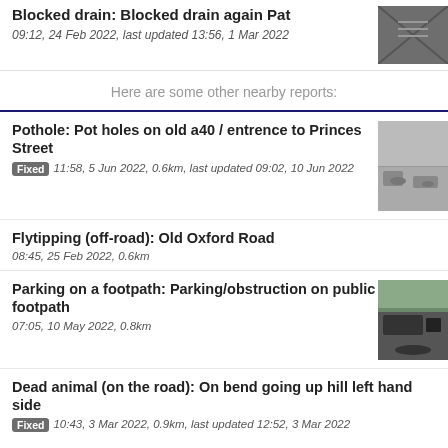Blocked drain: Blocked drain again Pat
09:12, 24 Feb 2022, last updated 13:56, 1 Mar 2022
Here are some other nearby reports:
Pothole: Pot holes on old a40 / entrence to Princes Street
Fixed  11:58, 5 Jun 2022, 0.6km, last updated 09:02, 10 Jun 2022
Flytipping (off-road): Old Oxford Road
08:45, 25 Feb 2022, 0.6km
Parking on a footpath: Parking/obstruction on public footpath
07:05, 10 May 2022, 0.8km
Dead animal (on the road): On bend going up hill left hand side
Fixed  10:43, 3 Mar 2022, 0.9km, last updated 12:52, 3 Mar 2022